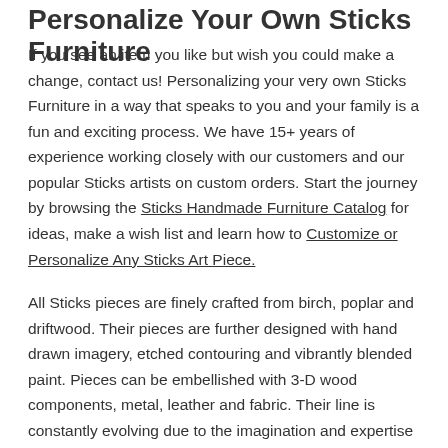Personalize Your Own Sticks Furniture
If you see an item you like but wish you could make a change, contact us! Personalizing your very own Sticks Furniture in a way that speaks to you and your family is a fun and exciting process. We have 15+ years of experience working closely with our customers and our popular Sticks artists on custom orders. Start the journey by browsing the Sticks Handmade Furniture Catalog for ideas, make a wish list and learn how to Customize or Personalize Any Sticks Art Piece.
All Sticks pieces are finely crafted from birch, poplar and driftwood. Their pieces are further designed with hand drawn imagery, etched contouring and vibrantly blended paint. Pieces can be embellished with 3-D wood components, metal, leather and fabric. Their line is constantly evolving due to the imagination and expertise of their design team and the many talented craft artisans